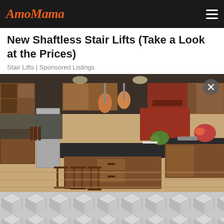AmoMama
New Shaftless Stair Lifts (Take a Look at the Prices)
Stair Lifts | Sponsored Listings
[Figure (photo): Interior photo of a luxury kitchen with warm wood cabinetry, dark stone countertops on a large center island, pendant lights, and light hardwood flooring. Three wooden bar stools line the island. A close button (X) is visible in the top right corner of the image.]
[Figure (illustration): Gray geometric hexagonal/cube pattern background, used as a placeholder or decorative element at the bottom of the page.]